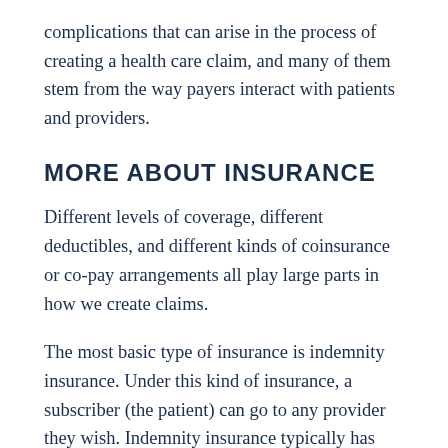complications that can arise in the process of creating a health care claim, and many of them stem from the way payers interact with patients and providers.
MORE ABOUT INSURANCE
Different levels of coverage, different deductibles, and different kinds of coinsurance or co-pay arrangements all play large parts in how we create claims.
The most basic type of insurance is indemnity insurance. Under this kind of insurance, a subscriber (the patient) can go to any provider they wish. Indemnity insurance typically has higher premiums (the monthly or annual membership fees charged by the insurance company) and deductibles, but offers patients more flexibility.
A deductible is the amount of money a patient must...